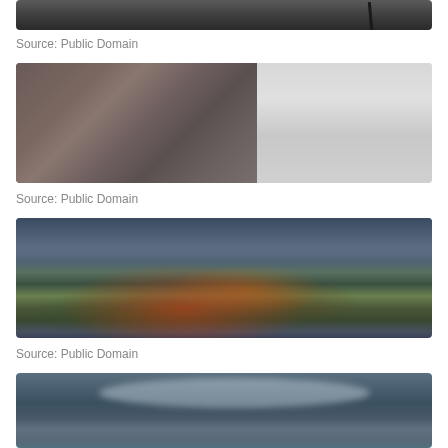[Figure (photo): Partially visible dark photograph, appears to show machinery or equipment with a long horizontal rod or bar against a dark background]
Source: Public Domain
[Figure (photo): Photograph of a building facade with brick walls, decorative white architectural elements including ornate brackets and moldings, and a sheer curtain or fabric visible on the right side. A sculptural animal figure (possibly a dog or lion) is visible at the bottom left.]
Source: Public Domain
[Figure (photo): Panoramic photograph of a European-style town or village with colorful buildings including red and orange structures, a prominent red brick church tower, trees, utility poles, and mountains visible in the background under a dramatic cloudy sky.]
Source: Public Domain
[Figure (photo): Partially visible aerial or elevated photograph showing a mountainous, forested landscape with snow-capped peaks and what appears to be a wooded valley below.]